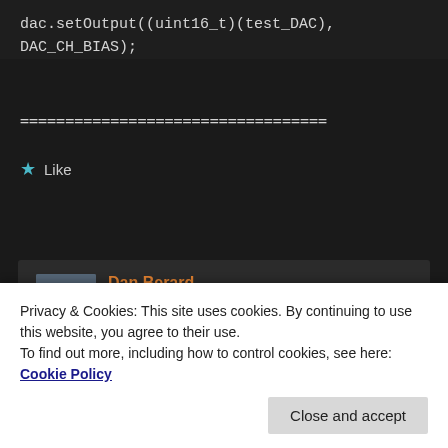dac.setOutput((uint16_t)(test_DAC),
DAC_CH_BIAS);
==================================
★ Like
Reply ↓
Dan Berard
on March 25, 2021 at 9:03 pm said:
From your photos your soldering looks
Privacy & Cookies: This site uses cookies. By continuing to use this website, you agree to their use.
To find out more, including how to control cookies, see here: Cookie Policy
Close and accept